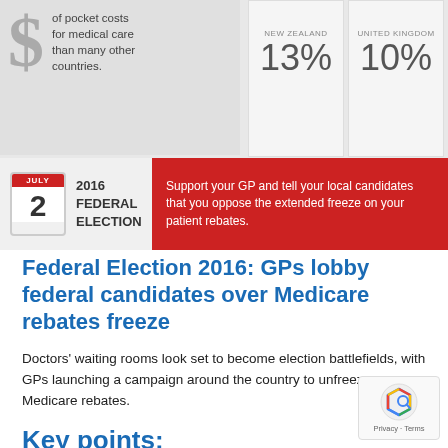[Figure (infographic): Infographic showing out-of-pocket costs comparison: text about pocket costs for medical care than many other countries, New Zealand 13%, United Kingdom 10%]
[Figure (infographic): July 2 2016 Federal Election banner with red box: Support your GP and tell your local candidates that you oppose the extended freeze on your patient rebates.]
Federal Election 2016: GPs lobby federal candidates over Medicare rebates freeze
Doctors' waiting rooms look set to become election battlefields, with GPs launching a campaign around the country to unfreeze Medicare rebates.
Key points:
Turbull Government extended freeze to 2020
GPs say they are absorbing the cost